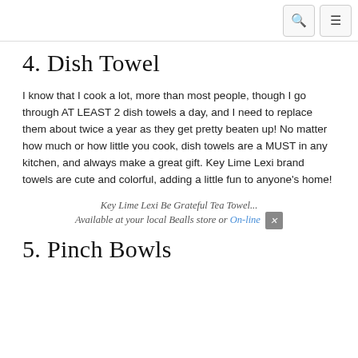4. Dish Towel
I know that I cook a lot, more than most people, though I go through AT LEAST 2 dish towels a day, and I need to replace them about twice a year as they get pretty beaten up! No matter how much or how little you cook, dish towels are a MUST in any kitchen, and always make a great gift. Key Lime Lexi brand towels are cute and colorful, adding a little fun to anyone’s home!
Key Lime Lexi Be Grateful Tea Towel...
Available at your local Bealls store or On-line
5. Pinch Bowls